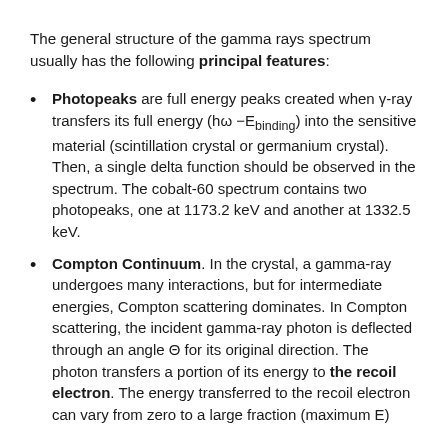The general structure of the gamma rays spectrum usually has the following principal features:
Photopeaks are full energy peaks created when γ-ray transfers its full energy (hω − E_binding) into the sensitive material (scintillation crystal or germanium crystal). Then, a single delta function should be observed in the spectrum. The cobalt-60 spectrum contains two photopeaks, one at 1173.2 keV and another at 1332.5 keV.
Compton Continuum. In the crystal, a gamma-ray undergoes many interactions, but for intermediate energies, Compton scattering dominates. In Compton scattering, the incident gamma-ray photon is deflected through an angle Θ for its original direction. The photon transfers a portion of its energy to the recoil electron. The energy transferred to the recoil electron can vary from zero to a large fraction (maximum E).